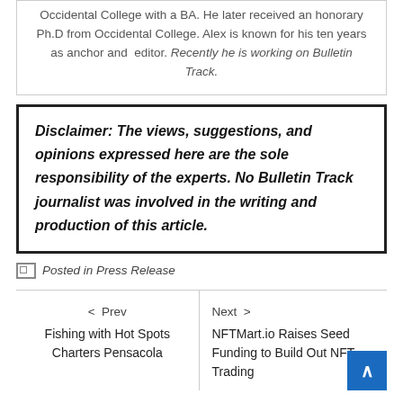Occidental College with a BA. He later received an honorary Ph.D from Occidental College. Alex is known for his ten years as anchor and editor. Recently he is working on Bulletin Track.
Disclaimer: The views, suggestions, and opinions expressed here are the sole responsibility of the experts. No Bulletin Track journalist was involved in the writing and production of this article.
Posted in Press Release
< Prev Fishing with Hot Spots Charters Pensacola
Next > NFTMart.io Raises Seed Funding to Build Out NFT Trading